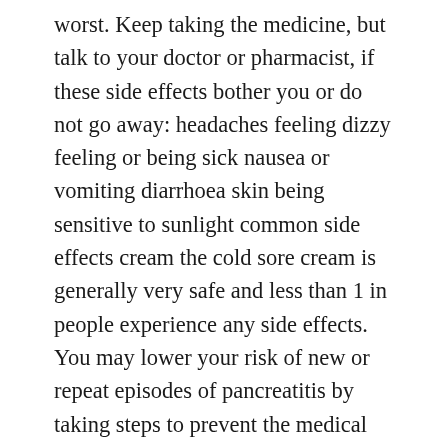worst. Keep taking the medicine, but talk to your doctor or pharmacist, if these side effects bother you or do not go away: headaches feeling dizzy feeling or being sick nausea or vomiting diarrhoea skin being sensitive to sunlight common side effects cream the cold sore cream is generally very safe and less than 1 in people experience any side effects. You may lower your risk of new or repeat episodes of pancreatitis by taking steps to prevent the medical conditions that can lead to the disease. Some low-end devices have x pixels and these are called ldpi. The walls older singles of a stairwell in the momentum kunsthall were painted with this scent then, and they are again now. Defeating a boss concludes with a congratulatory message and several items. Antun vrdoljak is a croatian film actor and director, sports official, and head of croatian radiotelevision during the looking for